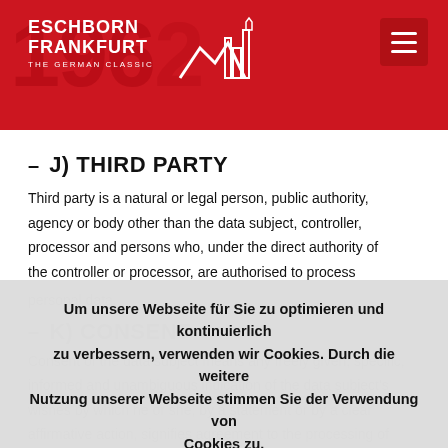[Figure (logo): Eschborn Frankfurt The German Classic logo with white cycling/skyline icon on red background]
– J) THIRD PARTY
Third party is a natural or legal person, public authority, agency or body other than the data subject, controller, processor and persons who, under the direct authority of the controller or processor, are authorised to process personal data.
Um unsere Webseite für Sie zu optimieren und kontinuierlich zu verbessern, verwenden wir Cookies. Durch die weitere Nutzung unserer Webseite stimmen Sie der Verwendung von Cookies zu.
– k) CONSENT
Consent of the data subject means any freely given, specific, informed and unambiguous indication of the data subject's wishes by which he or she, by a statement or by a clear affirmative action, signifies agreement to the processing of